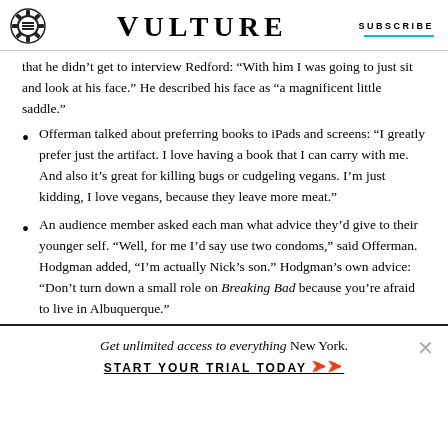VULTURE | SUBSCRIBE
that he didn't get to interview Redford: “With him I was going to just sit and look at his face.” He described his face as “a magnificent little saddle.”
Offerman talked about preferring books to iPads and screens: “I greatly prefer just the artifact. I love having a book that I can carry with me. And also it’s great for killing bugs or cudgeling vegans. I’m just kidding, I love vegans, because they leave more meat.”
An audience member asked each man what advice they’d give to their younger self. “Well, for me I’d say use two condoms,” said Offerman. Hodgman added, “I’m actually Nick’s son.” Hodgman’s own advice: “Don’t turn down a small role on Breaking Bad because you’re afraid to live in Albuquerque.”
Get unlimited access to everything New York.
START YOUR TRIAL TODAY ➡➡